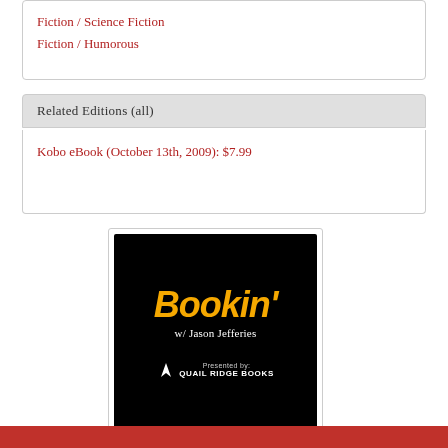Fiction / Science Fiction
Fiction / Humorous
Related Editions (all)
Kobo eBook (October 13th, 2009): $7.99
[Figure (logo): Bookin' with Jason Jefferies podcast logo, black background with yellow italic text 'Bookin'' and white text 'w/ Jason Jefferies', presented by Quail Ridge Books]